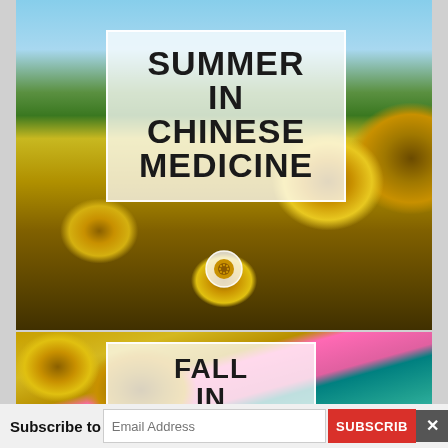[Figure (photo): Photo of sunflowers in a field with blue sky background, with a semi-transparent white box overlay containing the title text 'SUMMER IN CHINESE MEDICINE' in bold black uppercase letters. A small circular sunflower icon appears at the bottom center of the image.]
SUMMER IN CHINESE MEDICINE
[Figure (photo): Partial photo showing autumn flowers and foliage (sunflowers, pink flowers, teal/green leaves) with a semi-transparent white box overlay showing the beginning of 'FALL IN CHINESE' text in bold black uppercase letters.]
FALL IN CHINESE
Subscribe to   Email Address   SUBSCRIBE